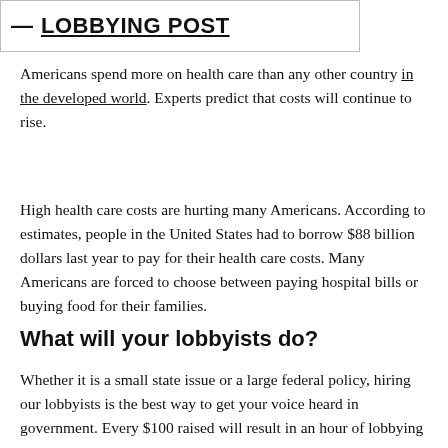Americans spend more on health care than any other country in the developed world. Experts predict that costs will continue to rise.
High health care costs are hurting many Americans. According to estimates, people in the United States had to borrow $88 billion dollars last year to pay for their health care costs. Many Americans are forced to choose between paying hospital bills or buying food for their families.
What will your lobbyists do?
Whether it is a small state issue or a large federal policy, hiring our lobbyists is the best way to get your voice heard in government. Every $100 raised will result in an hour of lobbying